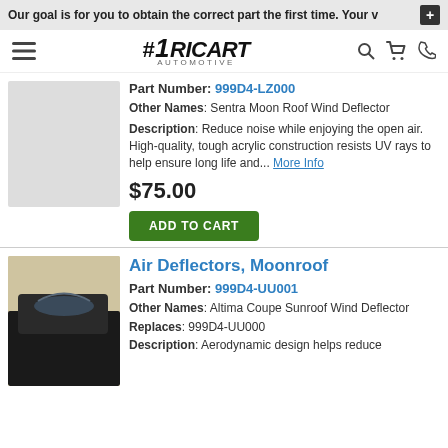Our goal is for you to obtain the correct part the first time. Your v
[Figure (logo): #1 Ricart Automotive logo with hamburger menu, search, cart, and phone icons]
[Figure (photo): Product image placeholder (gray background) for Sentra Moon Roof Wind Deflector]
Part Number: 999D4-LZ000
Other Names: Sentra Moon Roof Wind Deflector
Description: Reduce noise while enjoying the open air. High-quality, tough acrylic construction resists UV rays to help ensure long life and... More Info
$75.00
ADD TO CART
Air Deflectors, Moonroof
[Figure (photo): Photo of a moonroof wind deflector installed on a dark colored vehicle roof]
Part Number: 999D4-UU001
Other Names: Altima Coupe Sunroof Wind Deflector
Replaces: 999D4-UU000
Description: Aerodynamic design helps reduce